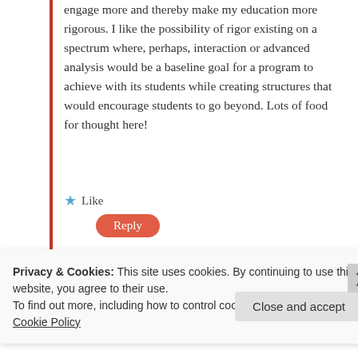engage more and thereby make my education more rigorous. I like the possibility of rigor existing on a spectrum where, perhaps, interaction or advanced analysis would be a baseline goal for a program to achieve with its students while creating structures that would encourage students to go beyond. Lots of food for thought here!
Like
Reply
danielachesney
May 13, 2014 at 1:00 pm
Privacy & Cookies: This site uses cookies. By continuing to use this website, you agree to their use.
To find out more, including how to control cookies, see here:
Cookie Policy
Close and accept